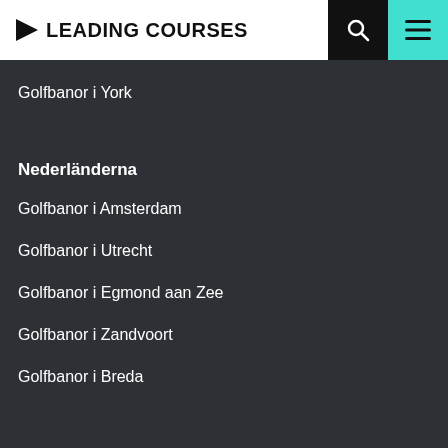LEADING COURSES
Golfbanor i York
Nederländerna
Golfbanor i Amsterdam
Golfbanor i Utrecht
Golfbanor i Egmond aan Zee
Golfbanor i Zandvoort
Golfbanor i Breda